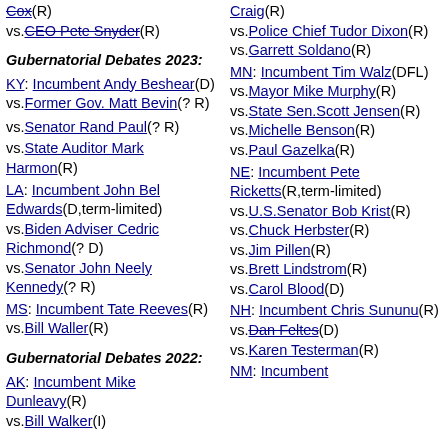Cox(R) vs.CEO Pete Snyder(R)
Gubernatorial Debates 2023:
KY: Incumbent Andy Beshear(D) vs.Former Gov. Matt Bevin(? R)
vs.Senator Rand Paul(? R)
vs.State Auditor Mark Harmon(R)
LA: Incumbent John Bel Edwards(D,term-limited) vs.Biden Adviser Cedric Richmond(? D) vs.Senator John Neely Kennedy(? R)
MS: Incumbent Tate Reeves(R) vs.Bill Waller(R)
Gubernatorial Debates 2022:
AK: Incumbent Mike Dunleavy(R) vs.Bill Walker(I)
Craig(R) vs.Police Chief Tudor Dixon(R) vs.Garrett Soldano(R)
MN: Incumbent Tim Walz(DFL) vs.Mayor Mike Murphy(R) vs.State Sen.Scott Jensen(R) vs.Michelle Benson(R) vs.Paul Gazelka(R)
NE: Incumbent Pete Ricketts(R,term-limited) vs.U.S.Senator Bob Krist(R) vs.Chuck Herbster(R) vs.Jim Pillen(R) vs.Brett Lindstrom(R) vs.Carol Blood(D)
NH: Incumbent Chris Sununu(R) vs.Dan Feltes(D) vs.Karen Testerman(R)
NM: Incumbent